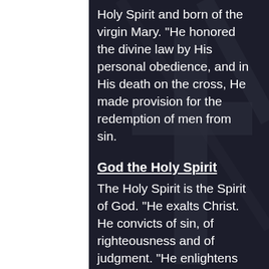Holy Spirit and born of the virgin Mary. "He honored the divine law by His personal obedience, and in His death on the cross, He made provision for the redemption of men from sin.
God the Holy Spirit
The Holy Spirit is the Spirit of God. "He exalts Christ. He convicts of sin, of righteousness and of judgment. "He enlightens and empowers